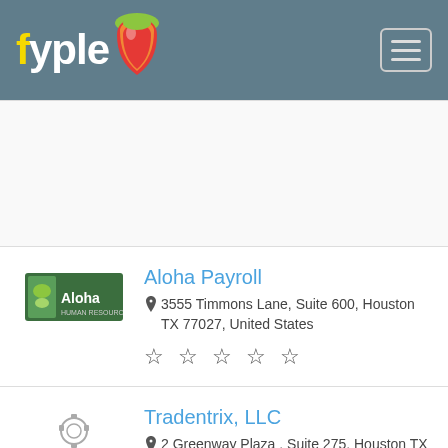fyple
Aloha Payroll
3555 Timmons Lane, Suite 600, Houston TX 77027, United States
Tradentrix, LLC
2 Greenway Plaza , Suite 275, Houston TX 77046, United States
Martial Arts School In Keller TX
1313 Kingwood Dr, Kingwood, TX 77339, USA,